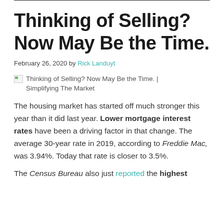Thinking of Selling? Now May Be the Time.
February 26, 2020 by Rick Landuyt
[Figure (photo): Placeholder image for 'Thinking of Selling? Now May Be the Time. | Simplifying The Market']
The housing market has started off much stronger this year than it did last year. Lower mortgage interest rates have been a driving factor in that change. The average 30-year rate in 2019, according to Freddie Mac, was 3.94%. Today that rate is closer to 3.5%.
The Census Bureau also just reported the highest